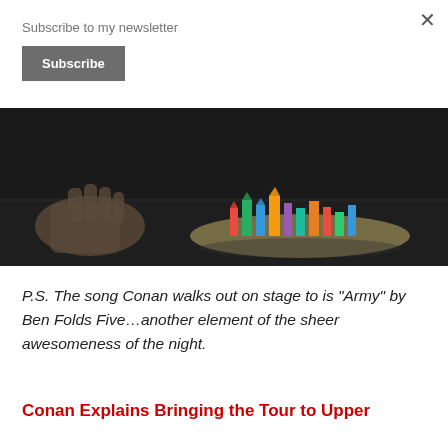Subscribe to my newsletter
Subscribe
[Figure (photo): Dark photo showing a hand near a colorful miniature city/diorama on a dark table surface]
P.S. The song Conan walks out on stage to is “Army” by Ben Folds Five…another element of the sheer awesomeness of the night.
Conan Explains Bringing the Tour to Upper